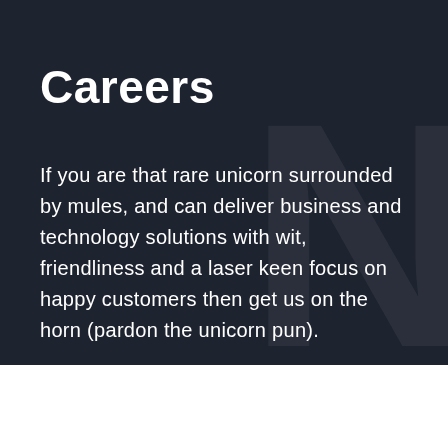Careers
If you are that rare unicorn surrounded by mules, and can deliver business and technology solutions with wit, friendliness and a laser keen focus on happy customers then get us on the horn (pardon the unicorn pun).